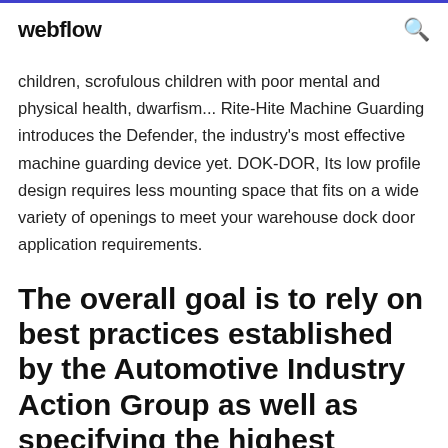webflow
children, scrofulous children with poor mental and physical health, dwarfism... Rite-Hite Machine Guarding introduces the Defender, the industry's most effective machine guarding device yet. DOK-DOR, Its low profile design requires less mounting space that fits on a wide variety of openings to meet your warehouse dock door application requirements.
The overall goal is to rely on best practices established by the Automotive Industry Action Group as well as specifying the highest quality loading dock